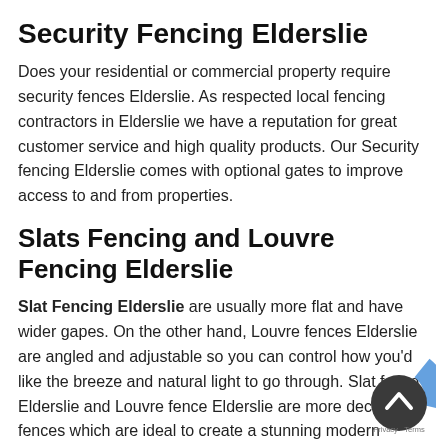Security Fencing Elderslie
Does your residential or commercial property require security fences Elderslie. As respected local fencing contractors in Elderslie we have a reputation for great customer service and high quality products. Our Security fencing Elderslie comes with optional gates to improve access to and from properties.
Slats Fencing and Louvre Fencing Elderslie
Slat Fencing Elderslie are usually more flat and have wider gapes. On the other hand, Louvre fences Elderslie are angled and adjustable so you can control how you'd like the breeze and natural light to go through. Slat fence Elderslie and Louvre fence Elderslie are more decorative fences which are ideal to create a stunning modern appearance with the added benefit to low maintenance screening.
Automatic Gates Elderslie